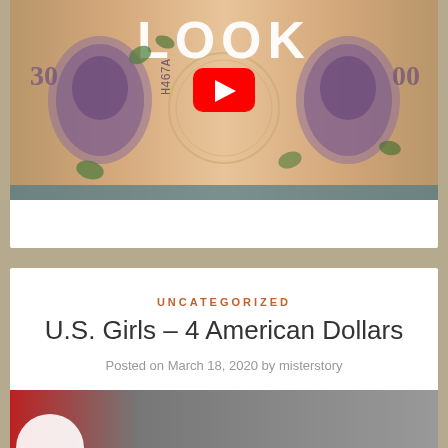[Figure (screenshot): YouTube video thumbnail showing a dollar bill with 'LOOK' text overlay and a YouTube play button in the center]
UNCATEGORIZED
U.S. Girls – 4 American Dollars
Posted on March 18, 2020 by misterstory
[Figure (screenshot): Partial video thumbnail at bottom of page showing a dark/grey background with a partial circular element]